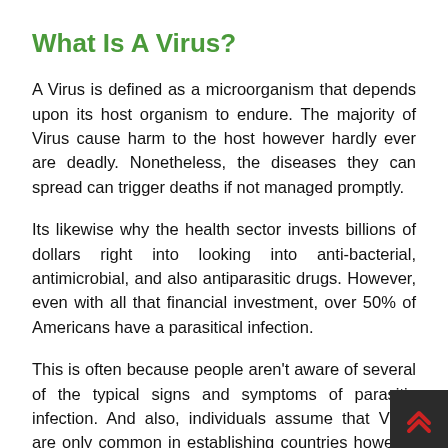What Is A Virus?
A Virus is defined as a microorganism that depends upon its host organism to endure. The majority of Virus cause harm to the host however hardly ever are deadly. Nonetheless, the diseases they can spread can trigger deaths if not managed promptly.
Its likewise why the health sector invests billions of dollars right into looking into anti-bacterial, antimicrobial, and also antiparasitic drugs. However, even with all that financial investment, over 50% of Americans have a parasitical infection.
This is often because people aren't aware of several of the typical signs and symptoms of parasitic infection. And also, individuals assume that Virus are only common in establishing countries however are not typical in countries like the UK as well as the US.